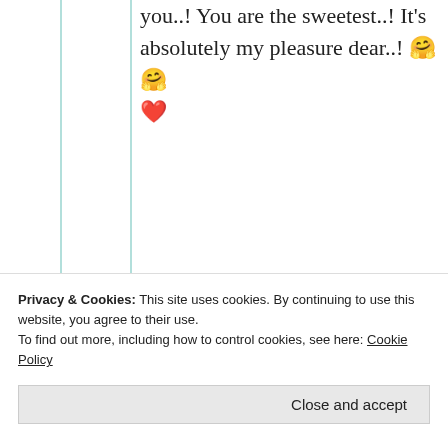you..! You are the sweetest..! It's absolutely my pleasure dear..! 🤗🤗 ❤️
★ Like
Suma Reddy
11th Jul 2021 at 9:51 am
Privacy & Cookies: This site uses cookies. By continuing to use this website, you agree to their use.
To find out more, including how to control cookies, see here: Cookie Policy
Close and accept